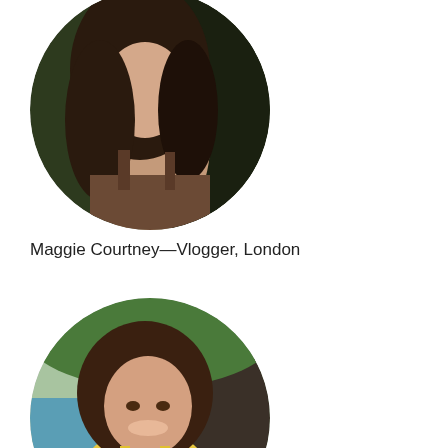[Figure (photo): Circular profile photo of Maggie Courtney, a woman with long dark hair wearing a brown top, photographed outdoors with green foliage background. Image is cropped at top.]
Maggie Courtney—Vlogger, London
[Figure (photo): Circular profile photo of Mickenzie Babb, a young woman with shoulder-length dark hair wearing a yellow tank top, smiling, photographed outdoors near a pool with a dark sculpture in background.]
Mickenzie Babb—TikToker, London